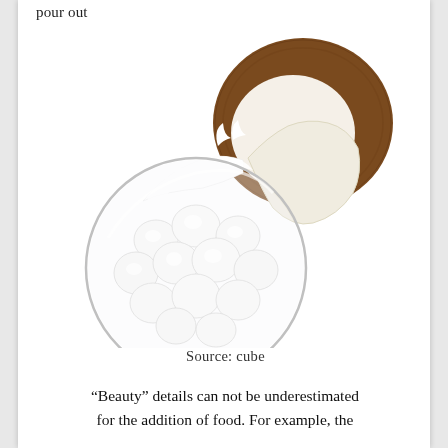pour out
[Figure (photo): A halved coconut with white milk splashing out, above a glass bowl filled with white coconut sugar cubes or compressed coconut pieces on a white background.]
Source: cube
“Beauty” details can not be underestimated for the addition of food. For example, the